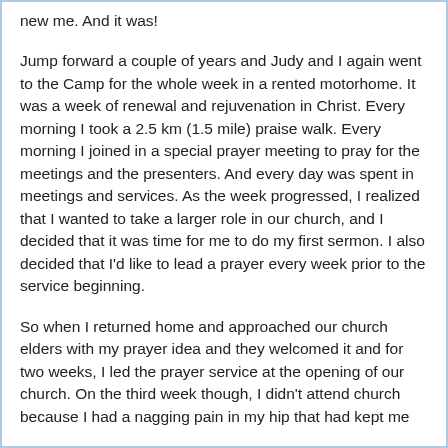new me. And it was!
Jump forward a couple of years and Judy and I again went to the Camp for the whole week in a rented motorhome. It was a week of renewal and rejuvenation in Christ. Every morning I took a 2.5 km (1.5 mile) praise walk. Every morning I joined in a special prayer meeting to pray for the meetings and the presenters. And every day was spent in meetings and services. As the week progressed, I realized that I wanted to take a larger role in our church, and I decided that it was time for me to do my first sermon. I also decided that I’d like to lead a prayer every week prior to the service beginning.
So when I returned home and approached our church elders with my prayer idea and they welcomed it and for two weeks, I led the prayer service at the opening of our church. On the third week though, I didn’t attend church because I had a nagging pain in my hip that had kept me